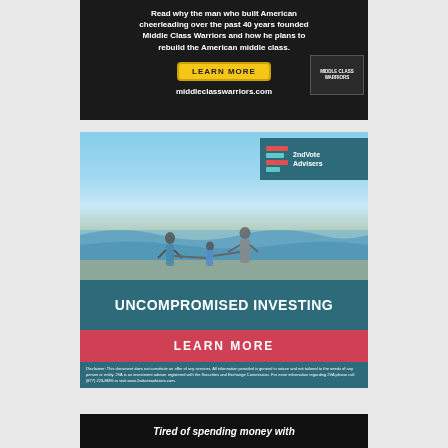[Figure (photo): Advertisement for Middle Class Warriors: dark background with bold white text reading 'Read why the man who built American cheerleading over the past 40 years founded Middle Class Warriors and how he plans to rebuild the American middle class.' Yellow button labeled 'LEARN MORE' and URL middleclasswarriors.com at bottom.]
[Figure (photo): Advertisement for 2ndVote Advisers: beach scene with family of three holding hands facing ocean waves. Teal logo box top right with red and teal stripes and '2ndVote Advisers' text. Dark teal bar reading 'UNCOMPROMISED INVESTING', red bar with 'LEARN MORE', and disclaimer text below on teal background.]
[Figure (photo): Partial advertisement with dark/black background and white italic bold text beginning 'Tired of spending money with']